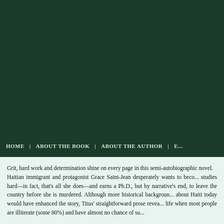[Figure (photo): Dark green header/banner area at the top of a website page]
HOME | ABOUT THE BOOK | ABOUT THE AUTHOR | E...
Grit, hard work and determination shine on every page in this semi-autobiographic novel.
Haitian immigrant and protagonist Grace Saint-Jean desperately wants to beco... studies hard—in fact, that's all she does—and earns a Ph.D., but by narrative's end, to leave the country before she is murdered. Although more historical backgroun... about Haiti today would have enhanced the story, Titus' straightforward prose revea... life when most people are illiterate (some 80%) and have almost no chance of su...